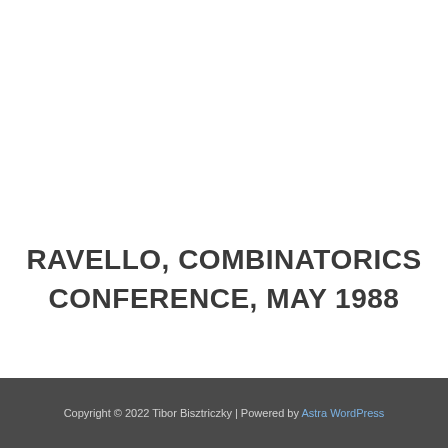RAVELLO, COMBINATORICS CONFERENCE, MAY 1988
Copyright © 2022 Tibor Bisztriczky | Powered by Astra WordPress